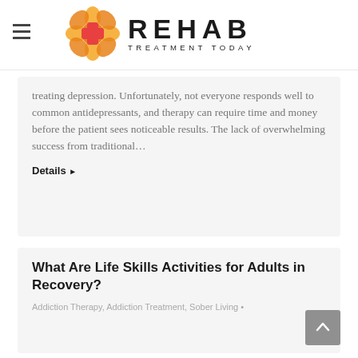REHAB TREATMENT TODAY
treating depression. Unfortunately, not everyone responds well to common antidepressants, and therapy can require time and money before the patient sees noticeable results. The lack of overwhelming success from traditional…
Details ▶
What Are Life Skills Activities for Adults in Recovery?
Addiction Therapy, Addiction Treatment, Sober Living •